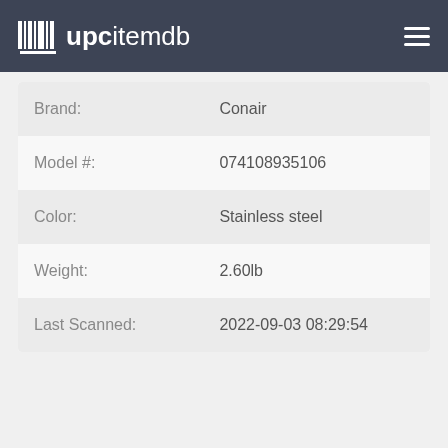upcitemdb
| Field | Value |
| --- | --- |
| Brand: | Conair |
| Model #: | 074108935106 |
| Color: | Stainless steel |
| Weight: | 2.60lb |
| Last Scanned: | 2022-09-03 08:29:54 |